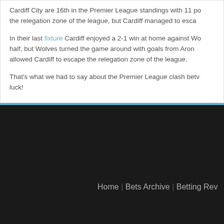Cardiff City are 16th in the Premier League standings with 11 po... the relegation zone of the league, but Cardiff managed to esca...
In their last fixture Cardiff enjoyed a 2-1 win at home against Wo... half, but Wolves turned the game around with goals from Aron ... allowed Cardiff to escape the relegation zone of the league.
That's what we had to say about the Premier League clash betw... luck!
Home | Bets Archive | Betting Rev...